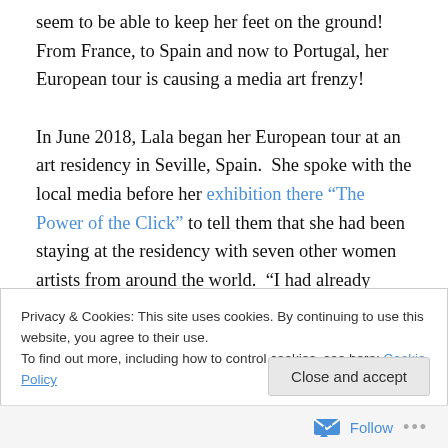seem to be able to keep her feet on the ground!  From France, to Spain and now to Portugal, her European tour is causing a media art frenzy!

In June 2018, Lala began her European tour at an art residency in Seville, Spain.  She spoke with the local media before her exhibition there “The Power of the Click” to tell them that she had been staying at the residency with seven other women artists from around the world.  “I had already lived with seven women once in a favela in Brazil in 2010, so I had my reservations about living with
Privacy & Cookies: This site uses cookies. By continuing to use this website, you agree to their use.
To find out more, including how to control cookies, see here: Cookie Policy
Close and accept
Follow